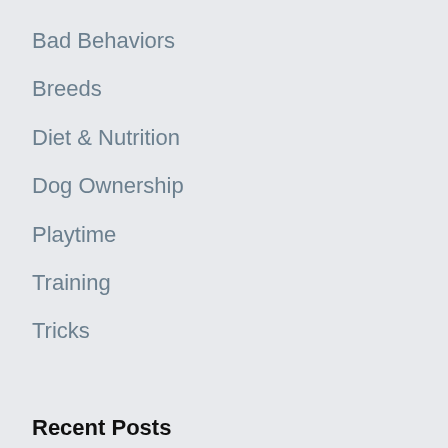Bad Behaviors
Breeds
Diet & Nutrition
Dog Ownership
Playtime
Training
Tricks
Recent Posts
Easy Cool Tricks Part 2
Easy Cool Tricks Part 1